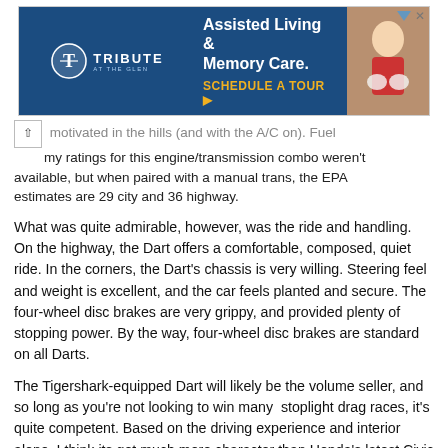[Figure (other): Advertisement banner for Tribute at the Glen Assisted Living & Memory Care with a Schedule a Tour call-to-action button, dark blue background, logo on left, elderly person photo on right.]
motivated in the hills (and with the A/C on). Fuel my ratings for this engine/transmission combo weren't available, but when paired with a manual trans, the EPA estimates are 29 city and 36 highway.
What was quite admirable, however, was the ride and handling. On the highway, the Dart offers a comfortable, composed, quiet ride. In the corners, the Dart's chassis is very willing. Steering feel and weight is excellent, and the car feels planted and secure. The four-wheel disc brakes are very grippy, and provided plenty of stopping power. By the way, four-wheel disc brakes are standard on all Darts.
The Tigershark-equipped Dart will likely be the volume seller, and so long as you're not looking to win many  stoplight drag races, it's quite competent. Based on the driving experience and interior alone, I think its got much more character than Honda's latest Civic sedan.